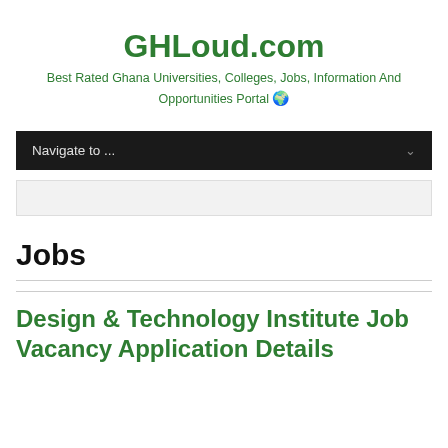GHLoud.com
Best Rated Ghana Universities, Colleges, Jobs, Information And Opportunities Portal 🌍
Navigate to ...
Jobs
Design & Technology Institute Job Vacancy Application Details